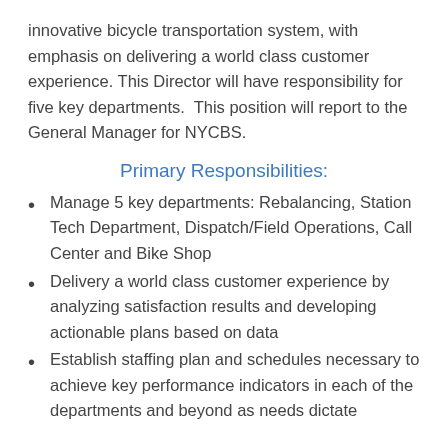innovative bicycle transportation system, with emphasis on delivering a world class customer experience. This Director will have responsibility for five key departments.  This position will report to the General Manager for NYCBS.
Primary Responsibilities:
Manage 5 key departments: Rebalancing, Station Tech Department, Dispatch/Field Operations, Call Center and Bike Shop
Delivery a world class customer experience by analyzing satisfaction results and developing actionable plans based on data
Establish staffing plan and schedules necessary to achieve key performance indicators in each of the departments and beyond as needs dictate